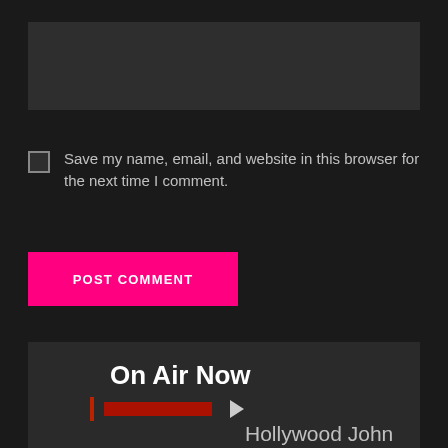[Figure (screenshot): Dark-themed web form textarea input field]
Save my name, email, and website in this browser for the next time I comment.
POST COMMENT
On Air Now
Hollywood John Harlow